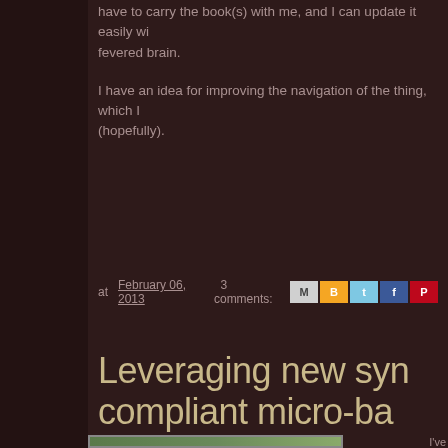have to carry the book(s) with me, and I can update it easily with my fevered brain.
I have an idea for improving the navigation of the thing, which I (hopefully).
at February 06, 2013  3 comments:
Leveraging new syn compliant micro-bas